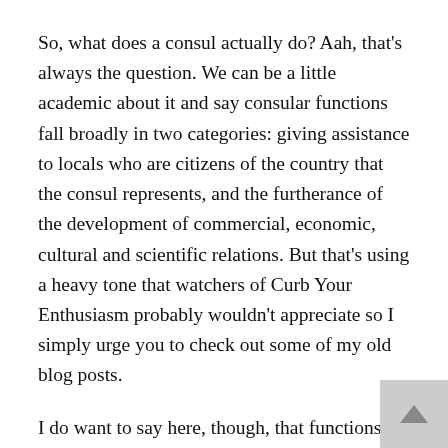So, what does a consul actually do? Aah, that's always the question. We can be a little academic about it and say consular functions fall broadly in two categories: giving assistance to locals who are citizens of the country that the consul represents, and the furtherance of the development of commercial, economic, cultural and scientific relations. But that's using a heavy tone that watchers of Curb Your Enthusiasm probably wouldn't appreciate so I simply urge you to check out some of my old blog posts.
I do want to say here, though, that functions vary and often depend on the consuls themselves as they have a certain amount of freedom to perform tasks (such as commercial or educational leads) that